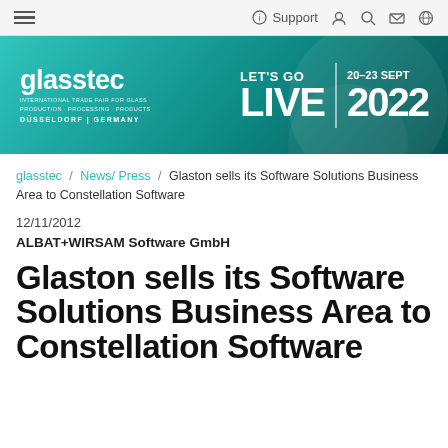≡  Support 👤 🔍 🛒 🌐
[Figure (other): glasstec banner: LET'S GO LIVE 20-23 SEPT 2022, International Trade Fair for Glass Production · Processing · Products, Düsseldorf | Germany]
glasstec / News/ Press / Glaston sells its Software Solutions Business Area to Constellation Software
12/11/2012
ALBAT+WIRSAM Software GmbH
Glaston sells its Software Solutions Business Area to Constellation Software